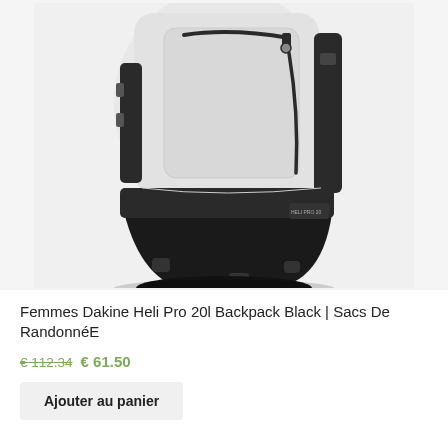[Figure (photo): A Dakine Heli Pro 20l backpack in white/light gray with black bottom section, black straps, and black zipper detail. The bag is shown from the front at a slight angle on a light gray background.]
Femmes Dakine Heli Pro 20l Backpack Black | Sacs De RandonnéE
€ 112.34 € 61.50
Ajouter au panier